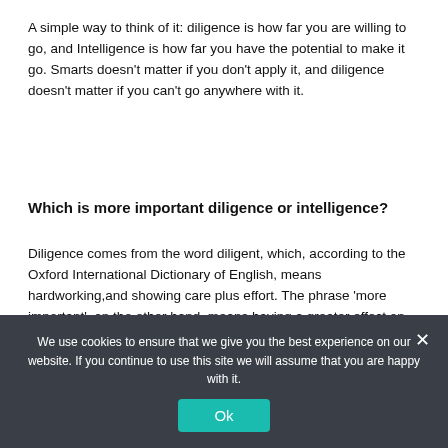A simple way to think of it: diligence is how far you are willing to go, and Intelligence is how far you have the potential to make it go. Smarts doesn't matter if you don't apply it, and diligence doesn't matter if you can't go anywhere with it.
Which is more important diligence or intelligence?
Diligence comes from the word diligent, which, according to the Oxford International Dictionary of English, means hardworking,and showing care plus effort. The phrase 'more important', on the other hand, means having a greater effect on the consequence while intelligence means possessing a highly developed intellect.
Who is an intelligent person?
We use cookies to ensure that we give you the best experience on our website. If you continue to use this site we will assume that you are happy with it.